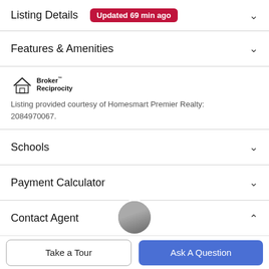Listing Details Updated 69 min ago
Features & Amenities
[Figure (logo): Broker Reciprocity logo with house icon and text]
Listing provided courtesy of Homesmart Premier Realty: 2084970067.
Schools
Payment Calculator
Contact Agent
[Figure (photo): Agent profile photo, circular crop]
Take a Tour
Ask A Question